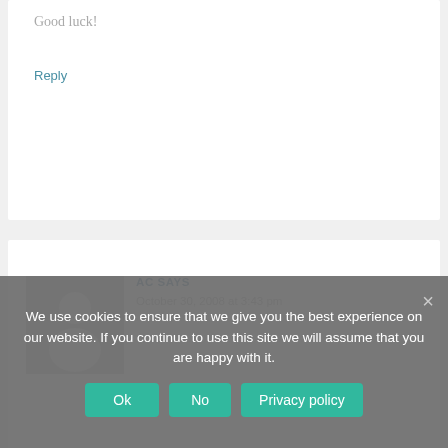Good luck!
Reply
[Figure (illustration): Default avatar placeholder image showing a silhouette of a person on a gray background]
AC SAYS
October 30, 2008 at 3:43 pm
We use cookies to ensure that we give you the best experience on our website. If you continue to use this site we will assume that you are happy with it.